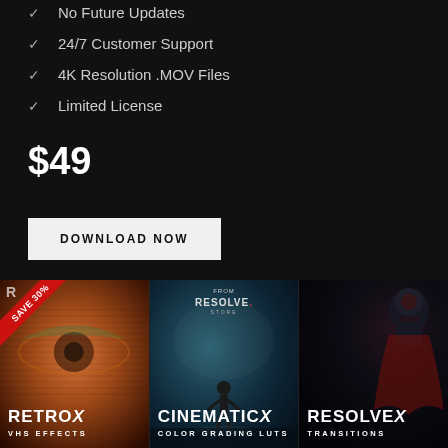No Future Updates
24/7 Customer Support
4K Resolution .MOV Files
Limited License
$49
DOWNLOAD NOW
[Figure (illustration): Three product cards side by side: RetroX VHS Effects (with SAVE 30% badge), CinematicX Color Grading LUTs, and ResolveX Transitions]